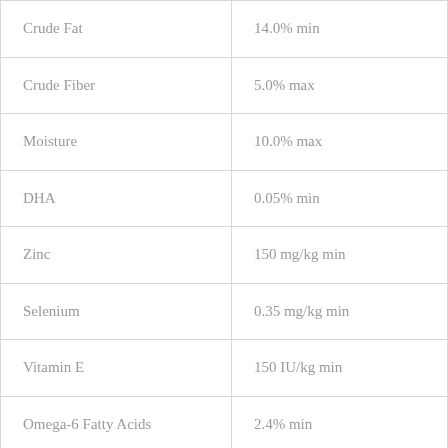| Crude Fat | 14.0% min |
| Crude Fiber | 5.0% max |
| Moisture | 10.0% max |
| DHA | 0.05% min |
| Zinc | 150 mg/kg min |
| Selenium | 0.35 mg/kg min |
| Vitamin E | 150 IU/kg min |
| Omega-6 Fatty Acids | 2.4% min |
| Omega-3 Fatty Acids | 0.3% min |